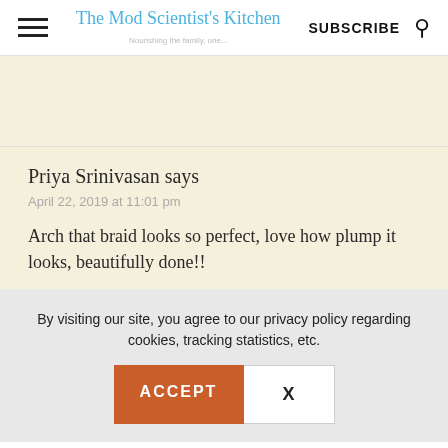The Mod Scientist's Kitchen | SUBSCRIBE
Priya Srinivasan says
April 22, 2019 at 11:01 pm
Arch that braid looks so perfect, love how plump it looks, beautifully done!!
By visiting our site, you agree to our privacy policy regarding cookies, tracking statistics, etc.